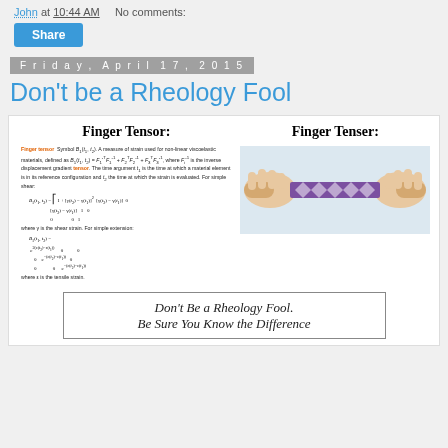John at 10:44 AM   No comments:
Share
Friday, April 17, 2015
Don't be a Rheology Fool
[Figure (infographic): Side-by-side comparison: left side shows a dictionary definition of 'Finger Tensor' with mathematical matrix equations; right side shows a photo of two hands pulling a purple stretchy band labeled 'Finger Tenser']
Don't Be a Rheology Fool. Be Sure You Know the Difference